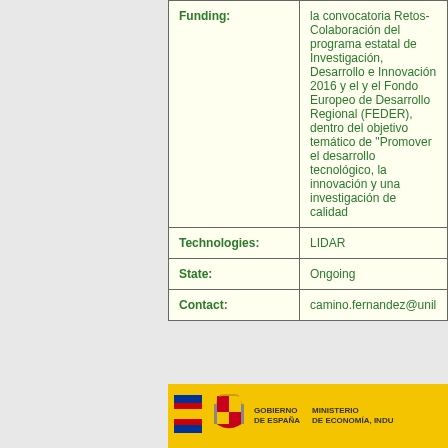| Field | Value |
| --- | --- |
| Funding: | la convocatoria Retos-Colaboración del programa estatal de Investigación, Desarrollo e Innovación 2016 y el y el Fondo Europeo de Desarrollo Regional (FEDER), dentro del objetivo temático de "Promover el desarrollo tecnológico, la innovación y una investigación de calidad |
| Technologies: | LIDAR |
| State: | Ongoing |
| Contact: | camino.fernandez@unil... |
[Figure (logo): Spanish Government footer banner with EU flag, coat of arms, Gobierno de España and Ministerio de Economía logos on yellow background]